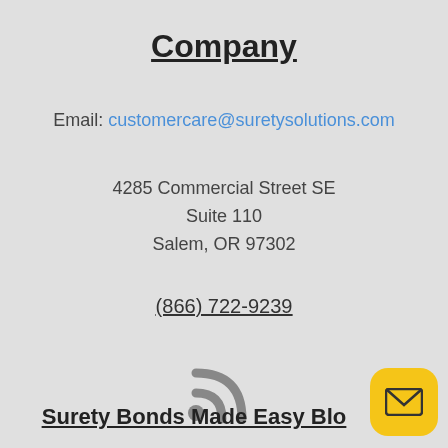Company
Email: customercare@suretysolutions.com
4285 Commercial Street SE
Suite 110
Salem, OR 97302
(866) 722-9239
[Figure (illustration): RSS feed icon in gray]
Surety Bonds Made Easy Blo